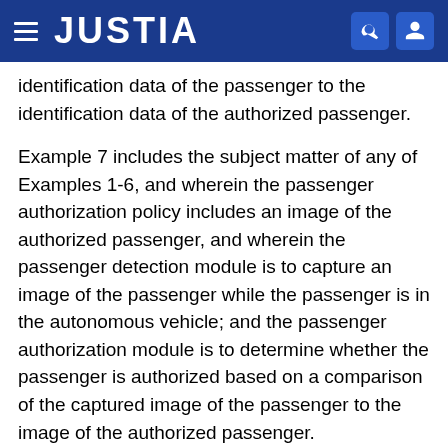JUSTIA
identification data of the passenger to the identification data of the authorized passenger.
Example 7 includes the subject matter of any of Examples 1-6, and wherein the passenger authorization policy includes an image of the authorized passenger, and wherein the passenger detection module is to capture an image of the passenger while the passenger is in the autonomous vehicle; and the passenger authorization module is to determine whether the passenger is authorized based on a comparison of the captured image of the passenger to the image of the authorized passenger.
Example 8 includes the subject matter of any of Examples 1-7, and wherein the passenger authorization policy identifies an age of the authorized passenger, and wherein the passenger detection module is to